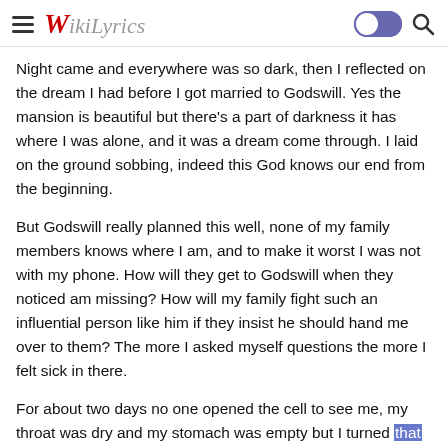WikiLyrics
Night came and everywhere was so dark, then I reflected on the dream I had before I got married to Godswill. Yes the mansion is beautiful but there's a part of darkness it has where I was alone, and it was a dream come through. I laid on the ground sobbing, indeed this God knows our end from the beginning.
But Godswill really planned this well, none of my family members knows where I am, and to make it worst I was not with my phone. How will they get to Godswill when they noticed am missing? How will my family fight such an influential person like him if they insist he should hand me over to them? The more I asked myself questions the more I felt sick in there.
For about two days no one opened the cell to see me, my throat was dry and my stomach was empty but I turned that situation of mine into fasting after all in the village I do have